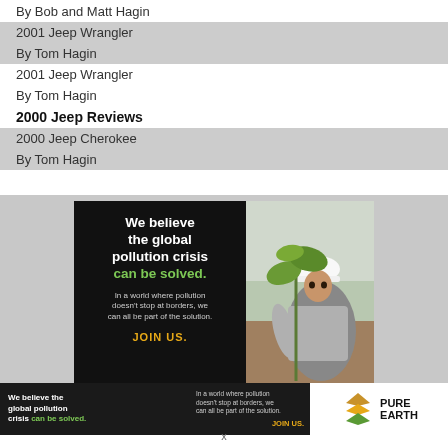By Bob and Matt Hagin
2001 Jeep Wrangler
By Tom Hagin
2001 Jeep Wrangler
By Tom Hagin
2000 Jeep Reviews
2000 Jeep Cherokee
By Tom Hagin
[Figure (photo): Advertisement for Pure Earth showing a man in a white hard hat planting a tree sapling. Text reads: 'We believe the global pollution crisis can be solved. In a world where pollution doesn't stop at borders, we can all be part of the solution. JOIN US.' with Pure Earth logo banner below.]
x